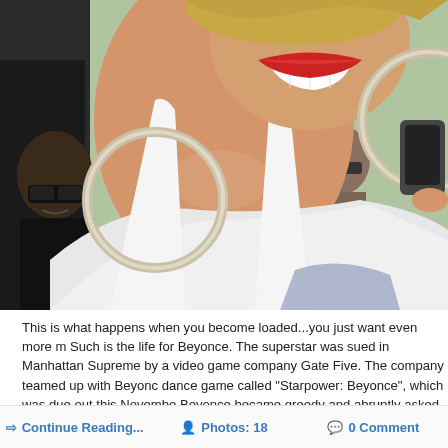[Figure (photo): Close-up photo of a woman smiling with red lipstick and large silver hoop earrings, wearing a white top. A man with sunglasses visible in the background left.]
This is what happens when you become loaded...you just want even more m Such is the life for Beyonce. The superstar was sued in Manhattan Supreme by a video game company Gate Five. The company teamed up with Beyonc dance game called "Starpower: Beyonce", which was due out this Novembe Beyonce became greedy and abruptly asked for more money last Decembe guess what? 70 people landed in unemployment...
Continue Reading... | Photos: 18 | 0 Comment